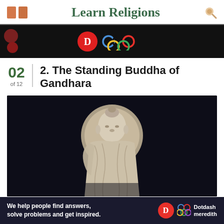Learn Religions
[Figure (screenshot): Advertisement banner with dark background, red circle, and Olympic-style rings]
2. The Standing Buddha of Gandhara
[Figure (photo): White stone statue of Standing Buddha of Gandhara with halo, robes, against dark background]
We help people find answers, solve problems and get inspired.
Dotdash meredith